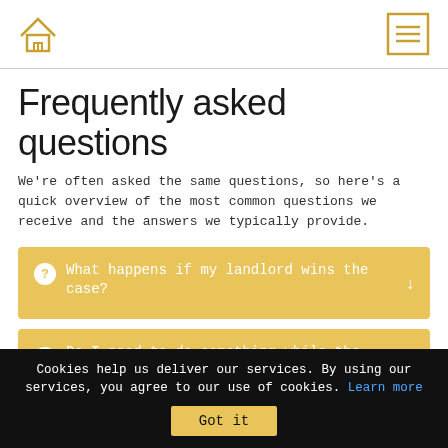Home logo and menu icon
Frequently asked questions
We're often asked the same questions, so here's a quick overview of the most common questions we receive and the answers we typically provide.
What happens if my landlord wins the case?
Do I need to do something while the case is being processed?
Cookies help us deliver our services. By using our services, you agree to our use of cookies. Learn more  Got it